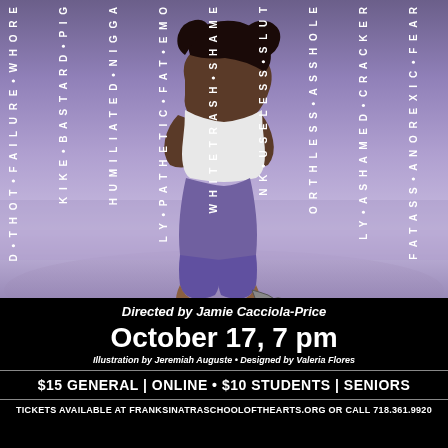[Figure (illustration): A person sitting hunched over with arms crossed, wearing purple/blue jeans and boots, with a chain attached to their ankle. Background is painted purple/blue tones. Overlaid vertical text reads offensive/hurtful words in white capital letters running top to bottom across the image.]
Directed by Jamie Cacciola-Price
October 17, 7 pm
Illustration by Jeremiah Auguste • Designed by Valeria Flores
$15 GENERAL | ONLINE • $10 STUDENTS | SENIORS
TICKETS AVAILABLE AT FRANKSINATRASCHOOLOFTHEARTS.ORG OR CALL 718.361.9920